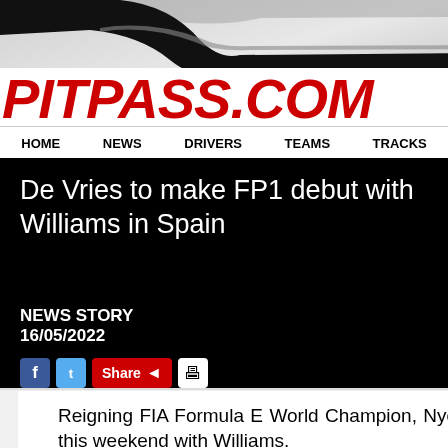[Figure (photo): PitPass.com website header with racing car wing graphic in gray background and red italic logo text reading PITPASS.COM]
HOME  NEWS  DRIVERS  TEAMS  TRACKS
De Vries to make FP1 debut with Williams in Spain
NEWS STORY
16/05/2022
Reigning FIA Formula E World Champion, Nyck de Vries will make his FP1 debut at Barcelona this weekend with Williams.